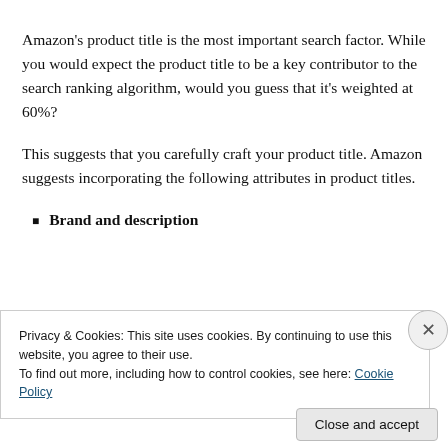Amazon's product title is the most important search factor. While you would expect the product title to be a key contributor to the search ranking algorithm, would you guess that it's weighted at 60%?
This suggests that you carefully craft your product title. Amazon suggests incorporating the following attributes in product titles.
Brand and description
Privacy & Cookies: This site uses cookies. By continuing to use this website, you agree to their use.
To find out more, including how to control cookies, see here: Cookie Policy